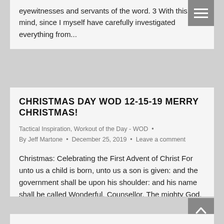eyewitnesses and servants of the word. 3 With this in mind, since I myself have carefully investigated everything from...
CHRISTMAS DAY WOD 12-15-19 MERRY CHRISTMAS!
Tactical Inspiration, Workout of the Day - WOD • By Jeff Martone • December 25, 2019 • Leave a comment
Christmas: Celebrating the First Advent of Christ For unto us a child is born, unto us a son is given: and the government shall be upon his shoulder: and his name shall be called Wonderful, Counsellor, The mighty God, The everlasting Father, The Prince of Peace.  Isaiah 9:6 KB Linda 10,9,8,7,6,5,4,3,2,1 reps for time: 1.5...